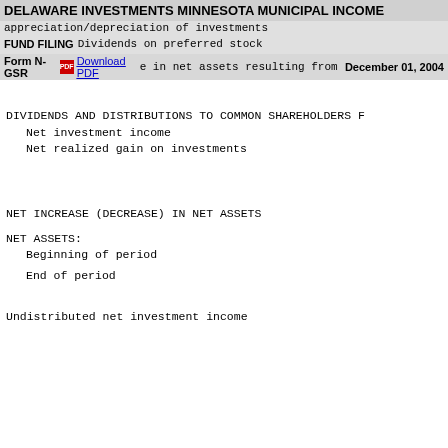DELAWARE INVESTMENTS MINNESOTA MUNICIPAL INCOME
appreciation/depreciation of investments
Dividends on preferred stock
FUND FILING
Form N-GSR
Download PDF
December 01, 2004
Net increase in net assets resulting from operations
DIVIDENDS AND DISTRIBUTIONS TO COMMON SHAREHOLDERS F
Net investment income
Net realized gain on investments
NET INCREASE (DECREASE) IN NET ASSETS
NET ASSETS:
Beginning of period
End of period
Undistributed net investment income